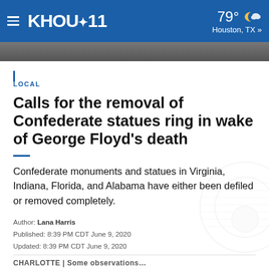KHOU 11 | 79° Houston, TX »
[Figure (photo): Dark photo strip behind header, partial view of a person]
LOCAL
Calls for the removal of Confederate statues ring in wake of George Floyd's death
Confederate monuments and statues in Virginia, Indiana, Florida, and Alabama have either been defiled or removed completely.
Author: Lana Harris
Published: 8:39 PM CDT June 9, 2020
Updated: 8:39 PM CDT June 9, 2020
CHARLOTTE | Some observations…